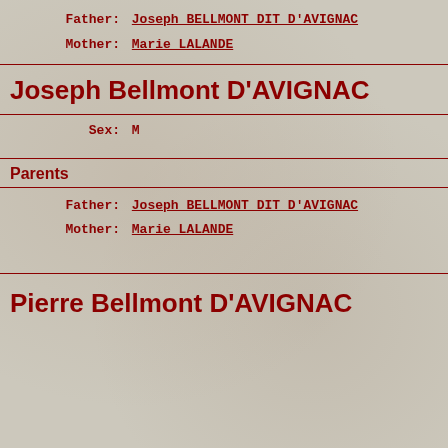Father: Joseph BELLMONT DIT D'AVIGNAC
Mother: Marie LALANDE
Joseph Bellmont D'AVIGNAC
Sex: M
Parents
Father: Joseph BELLMONT DIT D'AVIGNAC
Mother: Marie LALANDE
Pierre Bellmont D'AVIGNAC